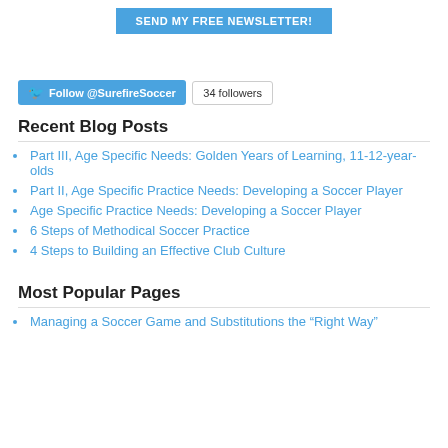[Figure (other): Blue button labeled SEND MY FREE NEWSLETTER!]
[Figure (other): Twitter Follow @SurefireSoccer button and 34 followers badge]
Recent Blog Posts
Part III, Age Specific Needs: Golden Years of Learning, 11-12-year-olds
Part II, Age Specific Practice Needs: Developing a Soccer Player
Age Specific Practice Needs: Developing a Soccer Player
6 Steps of Methodical Soccer Practice
4 Steps to Building an Effective Club Culture
Most Popular Pages
Managing a Soccer Game and Substitutions the “Right Way”